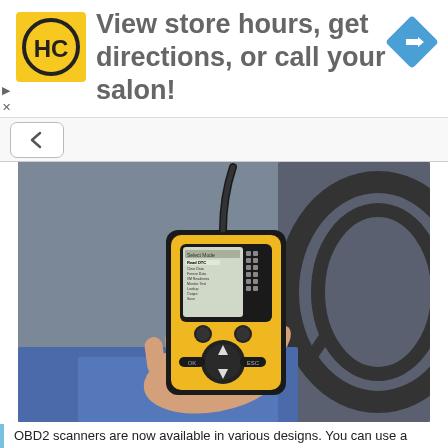[Figure (infographic): Advertisement banner: HC logo (yellow square with black HC text) on the left, large text 'View store hours, get directions, or call your salon!' in the center, blue diamond navigation arrow icon on the right. Small play and X icons on the far left margin.]
[Figure (photo): A hand holding a yellow and black OBD2 diagnostic scanner device inside a car, with a car steering wheel visible on the right side. The scanner has a small LCD screen showing a menu with options like 'Read DTC', 'Freeze Data', 'I/M Readiness', 'Monitor Test', 'Lookup', 'Output', 'Save'. A cable extends from the top of the device.]
OBD2 scanners are now available in various designs. You can use a standalone diagnostic device (shown above) or get an OBD2 adapter that connects with a smartphone